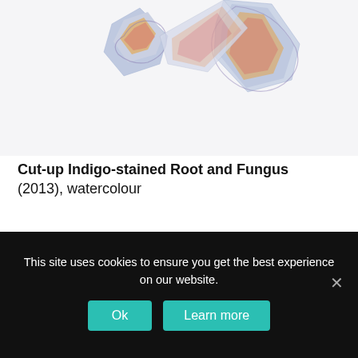[Figure (illustration): Watercolour painting of cut-up indigo-stained root and fungus — abstract organic forms in blue, purple, orange, and red on white background]
Cut-up Indigo-stained Root and Fungus (2013), watercolour
[Figure (illustration): Watercolour painting of a small fungus/mushroom in yellow-green and dark tones, partially cropped]
This site uses cookies to ensure you get the best experience on our website.